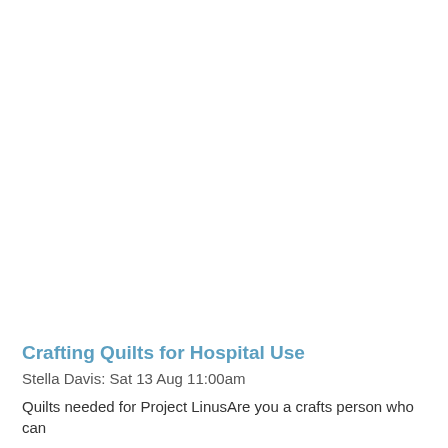Crafting Quilts for Hospital Use
Stella Davis: Sat 13 Aug 11:00am
Quilts needed for Project LinusAre you a crafts person who can